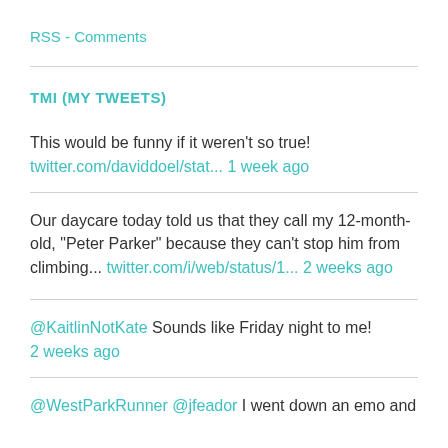RSS - Comments
TMI (MY TWEETS)
This would be funny if it weren't so true! twitter.com/daviddoel/stat... 1 week ago
Our daycare today told us that they call my 12-month-old, "Peter Parker" because they can't stop him from climbing... twitter.com/i/web/status/1... 2 weeks ago
@KaitlinNotKate Sounds like Friday night to me! 2 weeks ago
@WestParkRunner @jfeador I went down an emo and